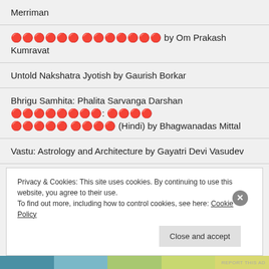Merriman
॥॥॥॥॥॥ ॥॥॥॥॥॥॥ by Om Prakash Kumravat
Untold Nakshatra Jyotish by Gaurish Borkar
Bhrigu Samhita: Phalita Sarvanga Darshan ॥॥॥॥॥॥॥॥: ॥॥॥॥ ॥॥॥॥॥ ॥॥॥॥ (Hindi) by Bhagwanadas Mittal
Vastu: Astrology and Architecture by Gayatri Devi Vasudev
A Complete Book on Medical Astrology by V K Choudhary
Privacy & Cookies: This site uses cookies. By continuing to use this website, you agree to their use.
To find out more, including how to control cookies, see here: Cookie Policy
Close and accept